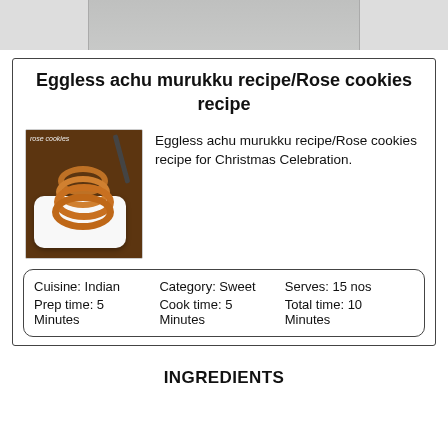[Figure (photo): Partial photo of food at the top of the page (cropped at top edge)]
Eggless achu murukku recipe/Rose cookies recipe
[Figure (photo): Photo of rose cookies (achu murukku) stacked on a white plate on a wooden surface, with 'rose cookies' text label visible]
Eggless achu murukku recipe/Rose cookies recipe for Christmas Celebration.
| Cuisine: Indian | Category: Sweet | Serves: 15 nos |
| --- | --- | --- |
| Prep time: 5 Minutes | Cook time: 5 Minutes | Total time: 10 Minutes |
INGREDIENTS